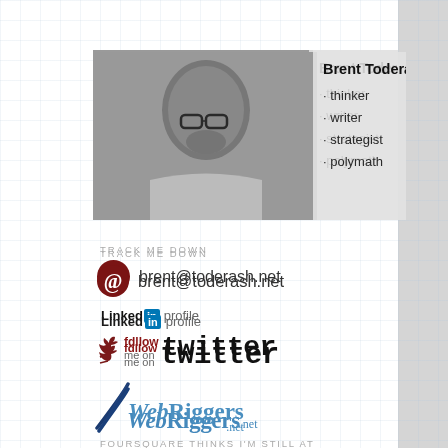[Figure (photo): Black and white photo of Brent Toderash, a middle-aged man with glasses and a beard, overlaid with a semi-transparent panel showing his name and titles]
Brent Toderash, BA
· thinker
· writer
· strategist
· polymath
TRACK ME DOWN
brent@toderash.net
[Figure (logo): LinkedIn logo: 'Linked in profile']
[Figure (logo): Follow me on Twitter button with bird icon]
[Figure (logo): WebRiggers.net logo with blue swooping design]
FOURSQUARE THINKS I'M STILL AT
Nonsuch Brewing, Winnipeg
ON TWITTER I SAY THINGS LIKE